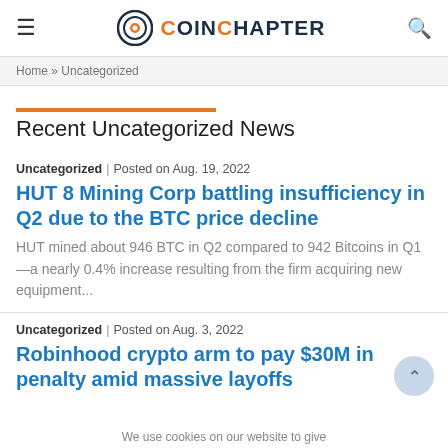CoinChapter
Home » Uncategorized
Recent Uncategorized News
Uncategorized | Posted on Aug. 19, 2022
HUT 8 Mining Corp battling insufficiency in Q2 due to the BTC price decline
HUT mined about 946 BTC in Q2 compared to 942 Bitcoins in Q1—a nearly 0.4% increase resulting from the firm acquiring new equipment...
Uncategorized | Posted on Aug. 3, 2022
Robinhood crypto arm to pay $30M in penalty amid massive layoffs
We use cookies on our website to give